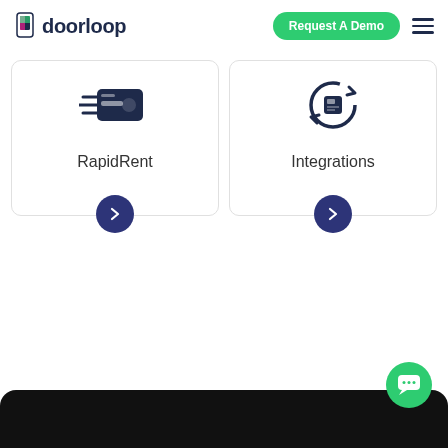doorloop — Request A Demo
RapidRent
Integrations
[Figure (screenshot): Bottom black rounded section of a website page with a green chat bubble icon in the bottom right corner]